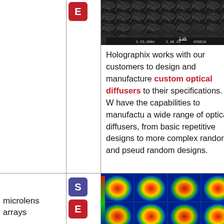[Figure (photo): SEM (scanning electron microscope) image of optical diffuser surface showing repetitive wave-like microstructure pattern in grayscale]
Holographix works with our customers to design and manufacture custom optical diffusers to their specifications. We have the capabilities to manufacture a wide range of optical diffusers, from basic repetitive designs to more complex random and pseudo-random designs.
microlens arrays
[Figure (photo): False-color microscopy image of microlens array showing dome-shaped lenses arranged in a regular grid pattern, colored red/orange/yellow/green/blue]